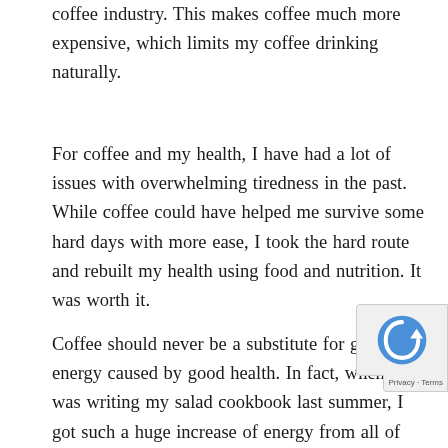coffee industry. This makes coffee much more expensive, which limits my coffee drinking naturally.
For coffee and my health, I have had a lot of issues with overwhelming tiredness in the past. While coffee could have helped me survive some hard days with more ease, I took the hard route and rebuilt my health using food and nutrition. It was worth it.
Coffee should never be a substitute for good energy caused by good health. In fact, when I was writing my salad cookbook last summer, I got such a huge increase of energy from all of those salads I was literally stuffing my face with all day. I didn't even want to drink regular coffee for a treat because I didn't want any more energy!